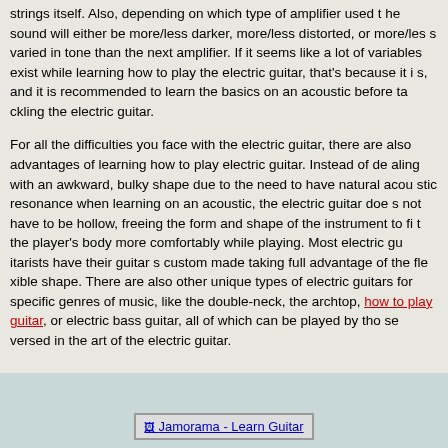strings itself. Also, depending on which type of amplifier used the sound will either be more/less darker, more/less distorted, or more/less varied in tone than the next amplifier. If it seems like a lot of variables exist while learning how to play the electric guitar, that's because it is, and it is recommended to learn the basics on an acoustic before tackling the electric guitar.

For all the difficulties you face with the electric guitar, there are also advantages of learning how to play electric guitar. Instead of dealing with an awkward, bulky shape due to the need to have natural acoustic resonance when learning on an acoustic, the electric guitar does not have to be hollow, freeing the form and shape of the instrument to fit the player's body more comfortably while playing. Most electric guitarists have their guitar s custom made taking full advantage of the flexible shape. There are also other unique types of electric guitars for specific genres of music, like the double-neck, the archtop, how to play guitar, or electric bass guitar, all of which can be played by those versed in the art of the electric guitar.
[Figure (other): Jamorama - Learn Guitar banner/advertisement image]
Recent Posts